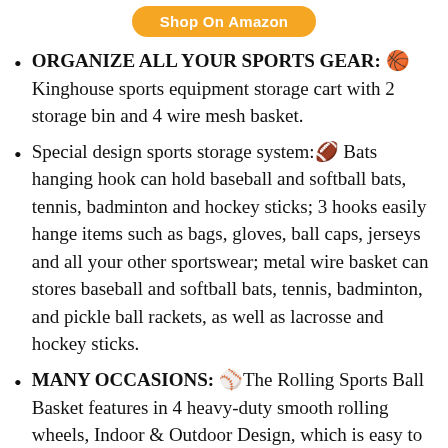[Figure (other): Orange 'Shop On Amazon' button]
ORGANIZE ALL YOUR SPORTS GEAR: 🏀 Kinghouse sports equipment storage cart with 2 storage bin and 4 wire mesh basket.
Special design sports storage system:🏈 Bats hanging hook can hold baseball and softball bats, tennis, badminton and hockey sticks; 3 hooks easily hange items such as bags, gloves, ball caps, jerseys and all your other sportswear; metal wire basket can stores baseball and softball bats, tennis, badminton, and pickle ball rackets, as well as lacrosse and hockey sticks.
MANY OCCASIONS: ⚾The Rolling Sports Ball Basket features in 4 heavy-duty smooth rolling wheels, Indoor & Outdoor Design, which is easy to